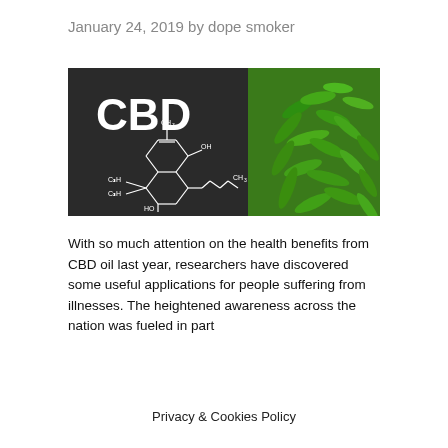January 24, 2019 by dope smoker
[Figure (photo): CBD chemical structure diagram on dark background alongside green cannabis plant leaves. Large text 'CBD' with molecular structure showing CH3, OH, C3H, HO groups.]
With so much attention on the health benefits from CBD oil last year, researchers have discovered some useful applications for people suffering from illnesses. The heightened awareness across the nation was fueled in part...
Privacy & Cookies Policy